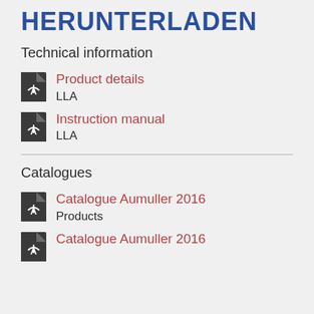HERUNTERLADEN
Technical information
Product details
LLA
Instruction manual
LLA
Catalogues
Catalogue Aumuller 2016
Products
Catalogue Aumuller 2016